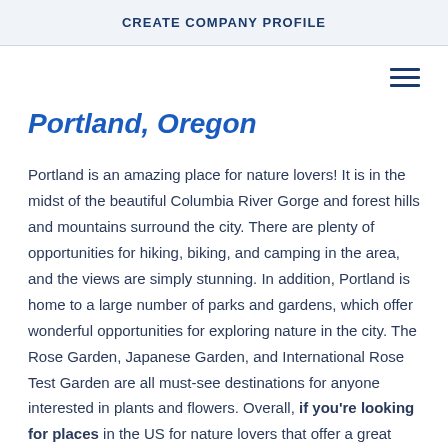CREATE COMPANY PROFILE
Portland, Oregon
Portland is an amazing place for nature lovers! It is in the midst of the beautiful Columbia River Gorge and forest hills and mountains surround the city. There are plenty of opportunities for hiking, biking, and camping in the area, and the views are simply stunning. In addition, Portland is home to a large number of parks and gardens, which offer wonderful opportunities for exploring nature in the city. The Rose Garden, Japanese Garden, and International Rose Test Garden are all must-see destinations for anyone interested in plants and flowers. Overall, if you're looking for places in the US for nature lovers that offer a great variety of